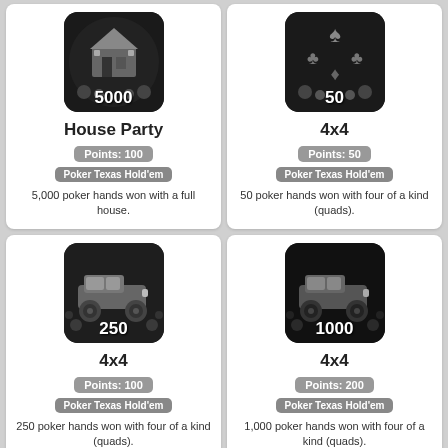[Figure (illustration): Game achievement badge: house/building icon with number 5000, dark background]
House Party
Points: 100
Poker Texas Hold'em
5,000 poker hands won with a full house.
[Figure (illustration): Game achievement badge: poker/card icon with number 50, dark background]
4x4
Points: 50
Poker Texas Hold'em
50 poker hands won with four of a kind (quads).
[Figure (illustration): Game achievement badge: jeep/4x4 vehicle icon with number 250, dark background]
4x4
Points: 100
Poker Texas Hold'em
250 poker hands won with four of a kind (quads).
[Figure (illustration): Game achievement badge: jeep/4x4 vehicle icon with number 1000, dark background]
4x4
Points: 200
Poker Texas Hold'em
1,000 poker hands won with four of a kind (quads).